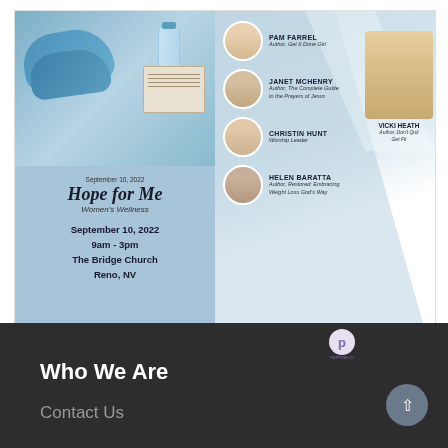[Figure (illustration): Event flyer for 'Hope for Me Women's Wellness' event. Features: Date September 10, 2022, 9am-3pm, The Bridge Church, Reno NV. Speakers: Pam Farrel (Author, Get It Done Girl), Janet McHenry (Author, The Complete Guide to the Prayers of Jesus), Christin Hunt (Worship Leader), Helen Baratta (Author, Restored: Embracing Weight Loss God's Way), Vicki Heath (Author, Don't Quit Get Fit). Background has athletic/wellness imagery with shoes and water bottle.]
← Snail Mail and Sunscreen
Mariner's Mail and the Honey Cup →
Who We Are
Contact Us